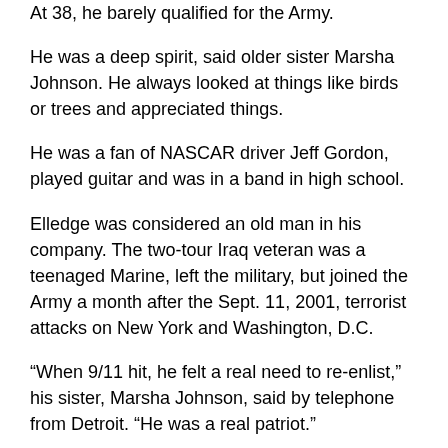At 38, he barely qualified for the Army.
He was a deep spirit, said older sister Marsha Johnson. He always looked at things like birds or trees and appreciated things.
He was a fan of NASCAR driver Jeff Gordon, played guitar and was in a band in high school.
Elledge was considered an old man in his company. The two-tour Iraq veteran was a teenaged Marine, left the military, but joined the Army a month after the Sept. 11, 2001, terrorist attacks on New York and Washington, D.C.
“When 9/11 hit, he felt a real need to re-enlist,” his sister, Marsha Johnson, said by telephone from Detroit. “He was a real patriot.”
While he loved his country, Elledge managed